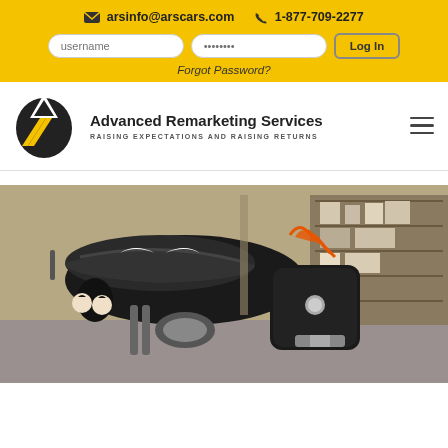arsinfo@arscars.com  1-877-709-2277
username  ••••••••  Log In
Forgot Password?
[Figure (logo): Advanced Remarketing Services logo — black bird/arrow shape with yellow diagonal stripes]
Advanced Remarketing Services
RAISING EXPECTATIONS AND RAISING RETURNS
[Figure (photo): Photograph of a black motorcycle with KISS band artwork painted on the tank and fairing, leather seat and saddlebag, parked in a garage with shelves in the background]